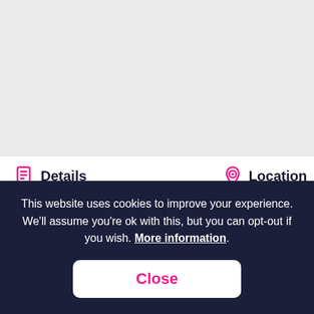[Figure (screenshot): Gray background area representing a website/app interface above a cookie consent banner]
Details
Location
This website uses cookies to improve your experience. We'll assume you're ok with this, but you can opt-out if you wish. More information.
Close